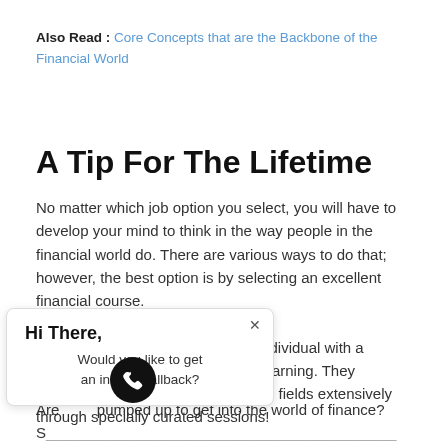Also Read : Core Concepts that are the Backbone of the Financial World
A Tip For The Lifetime
No matter which job option you select, you will have to develop your mind to think in the way people in the financial world do. There are various ways to do that; however, the best option is by selecting an excellent financial course.
...es each dedicated individual with a ...n the modern world of learning. They ...courses that cover these fields extensively through specially curated sessions!
[Figure (other): Popup overlay with text: Hi There, Would you like to get an instant callback?]
Are ... pumped up to get into the world of finance? S...